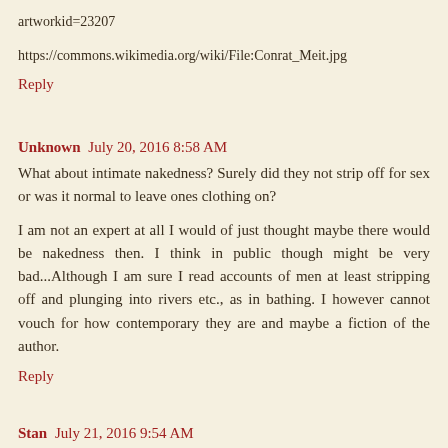artworkid=23207
https://commons.wikimedia.org/wiki/File:Conrat_Meit.jpg
Reply
Unknown July 20, 2016 8:58 AM
What about intimate nakedness? Surely did they not strip off for sex or was it normal to leave ones clothing on?
I am not an expert at all I would of just thought maybe there would be nakedness then. I think in public though might be very bad...Although I am sure I read accounts of men at least stripping off and plunging into rivers etc., as in bathing. I however cannot vouch for how contemporary they are and maybe a fiction of the author.
Reply
Stan July 21, 2016 9:54 AM
https://tudorstuff.wordpress.com/2009/02/06/the-tudors-